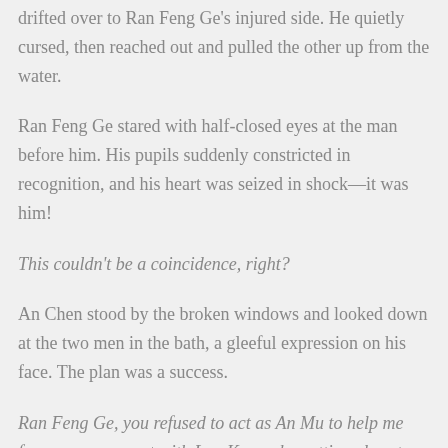drifted over to Ran Feng Ge's injured side. He quietly cursed, then reached out and pulled the other up from the water.
Ran Feng Ge stared with half-closed eyes at the man before him. His pupils suddenly constricted in recognition, and his heart was seized in shock—it was him!
This couldn't be a coincidence, right?
An Chen stood by the broken windows and looked down at the two men in the bath, a gleeful expression on his face. The plan was a success.
Ran Feng Ge, you refused to act as An Mu to help me form an agreement with Lan Kuang by getting close to him. Since it's